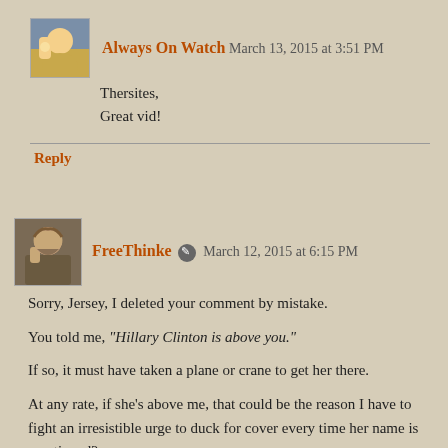Always On Watch  March 13, 2015 at 3:51 PM
Thersites,
Great vid!
Reply
FreeThinke  March 12, 2015 at 6:15 PM
Sorry, Jersey, I deleted your comment by mistake.

You told me, "Hillary Clinton is above you."

If so, it must have taken a plane or crane to get her there.

At any rate, if she's above me, that could be the reason I have to fight an irresistible urge to duck for cover every time her name is mentioned?
Reply